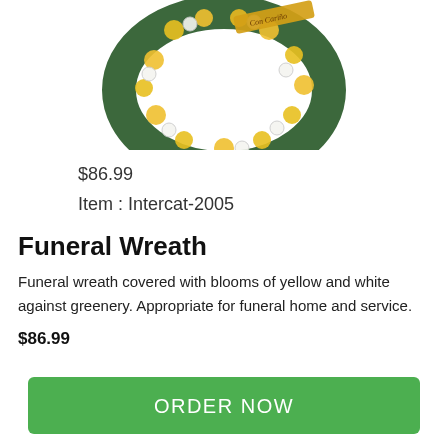[Figure (photo): A funeral wreath made of yellow and white blooms against dark green foliage, with a decorative ribbon/sash across the top.]
$86.99
Item : Intercat-2005
Funeral Wreath
Funeral wreath covered with blooms of yellow and white against greenery. Appropriate for funeral home and service.
$86.99
ORDER NOW